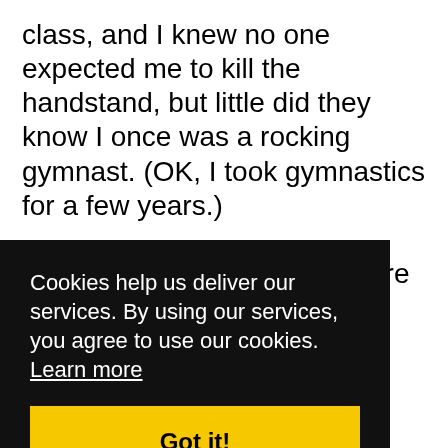class, and I knew no one expected me to kill the handstand, but little did they know I once was a rocking gymnast. (OK, I took gymnastics for a few years.)

Some of my classmates who’re much fitter than I were really struggling. Not because they were physically unable, but because they didn’t trust that
Cookies help us deliver our services. By using our services, you agree to use our cookies. Learn more
Got it!
“the inner circle” work out together pretty much since